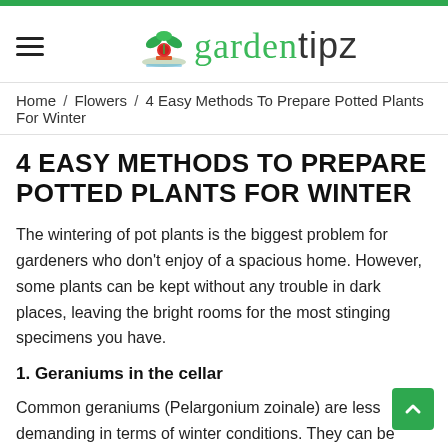gardentipz
Home / Flowers / 4 Easy Methods To Prepare Potted Plants For Winter
4 EASY METHODS TO PREPARE POTTED PLANTS FOR WINTER
The wintering of pot plants is the biggest problem for gardeners who don't enjoy of a spacious home. However, some plants can be kept without any trouble in dark places, leaving the bright rooms for the most stinging specimens you have.
1. Geraniums in the cellar
Common geraniums (Pelargonium zoinale) are less demanding in terms of winter conditions. They can be placed in a cellar or even in the attic bridge as long as the temperature is between 41-59 degrees...